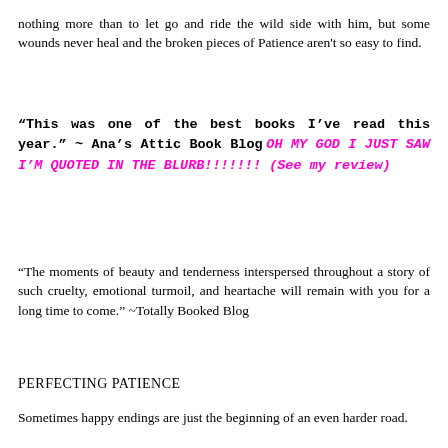nothing more than to let go and ride the wild side with him, but some wounds never heal and the broken pieces of Patience aren't so easy to find.
"This was one of the best books I've read this year." ~ Ana's Attic Book Blog OH MY GOD I JUST SAW I'M QUOTED IN THE BLURB!!!!!!! (See my review)
"The moments of beauty and tenderness interspersed throughout a story of such cruelty, emotional turmoil, and heartache will remain with you for a long time to come." ~Totally Booked Blog
PERFECTING PATIENCE
Sometimes happy endings are just the beginning of an even harder road.